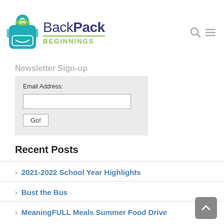[Figure (logo): BackPack Beginnings logo with teal backpack icon and text 'BackPack BEGINNINGS']
Email Address:
Go!
Recent Posts
2021-2022 School Year Highlights
Bust the Bus
MeaningFULL Meals Summer Food Drive